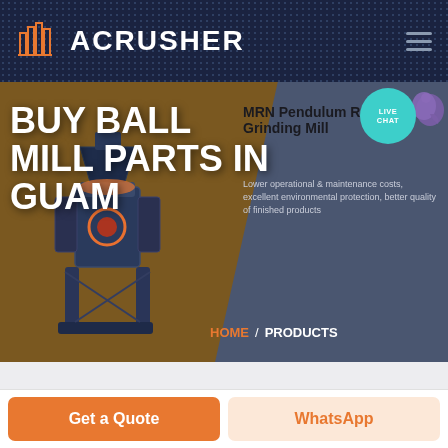ACRUSHER
BUY BALL MILL PARTS IN GUAM
MRN Pendulum Roller Grinding Mill
Lower operational & maintenance costs, excellent environmental protection, better quality of finished products
HOME / PRODUCTS
[Figure (screenshot): Screenshot of ACRUSHER website showing ball mill parts product page with hero banner, machine image, and call-to-action buttons]
Get a Quote
WhatsApp